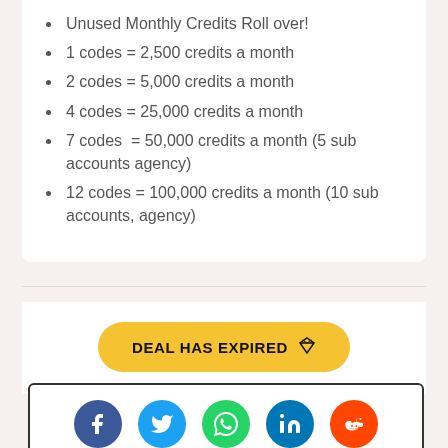Unused Monthly Credits Roll over!
1 codes = 2,500 credits a month
2 codes = 5,000 credits a month
4 codes = 25,000 credits a month
7 codes  = 50,000 credits a month (5 sub accounts agency)
12 codes = 100,000 credits a month (10 sub accounts, agency)
DEAL HAS EXPIRED
[Figure (other): Social sharing icons row: Facebook, Twitter, WhatsApp, LinkedIn, Reddit]